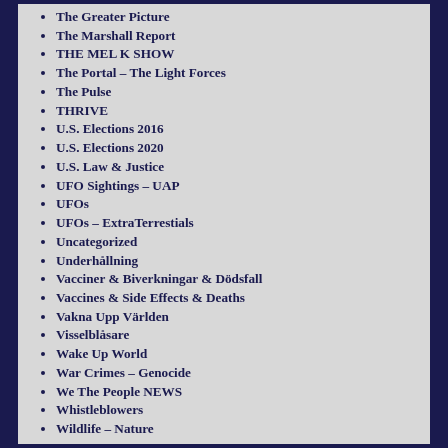The Greater Picture
The Marshall Report
THE MEL K SHOW
The Portal – The Light Forces
The Pulse
THRIVE
U.S. Elections 2016
U.S. Elections 2020
U.S. Law & Justice
UFO Sightings – UAP
UFOs
UFOs – ExtraTerrestials
Uncategorized
Underhållning
Vacciner & Biverkningar & Dödsfall
Vaccines & Side Effects & Deaths
Vakna Upp Världen
Visselblåsare
Wake Up World
War Crimes – Genocide
We The People NEWS
Whistleblowers
Wildlife – Nature
X22 Report